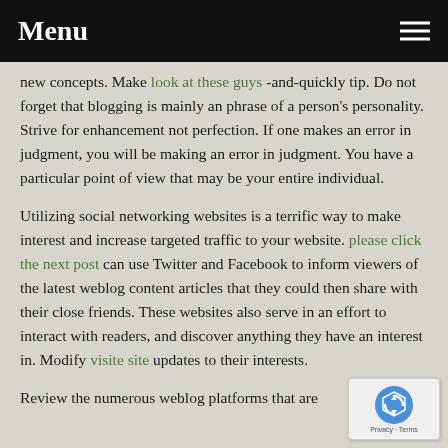Menu
new concepts. Make look at these guys -and-quickly tip. Do not forget that blogging is mainly an phrase of a person's personality. Strive for enhancement not perfection. If one makes an error in judgment, you will be making an error in judgment. You have a particular point of view that may be your entire individual.
Utilizing social networking websites is a terrific way to make interest and increase targeted traffic to your website. please click the next post can use Twitter and Facebook to inform viewers of the latest weblog content articles that they could then share with their close friends. These websites also serve in an effort to interact with readers, and discover anything they have an interest in. Modify visite site updates to their interests.
Review the numerous weblog platforms that are